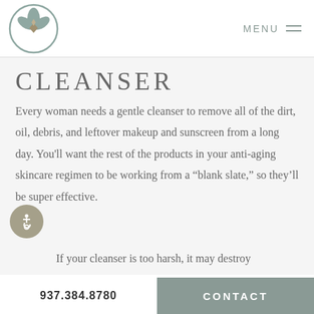[Figure (logo): Circular logo with lotus/botanical motif in muted teal and grey tones]
MENU
CLEANSER
Every woman needs a gentle cleanser to remove all of the dirt, oil, debris, and leftover makeup and sunscreen from a long day. You'll want the rest of the products in your anti-aging skincare regimen to be working from a “blank slate,” so they'll be super effective.
If your cleanser is too harsh, it may destroy
937.384.8780  CONTACT